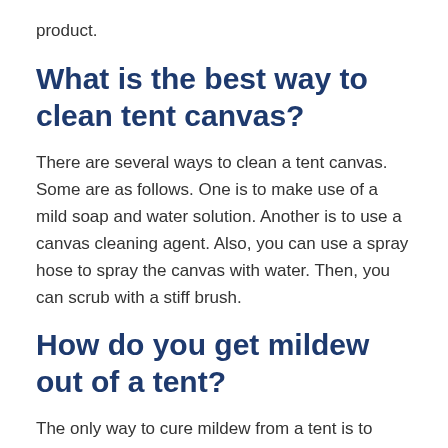product.
What is the best way to clean tent canvas?
There are several ways to clean a tent canvas. Some are as follows. One is to make use of a mild soap and water solution. Another is to use a canvas cleaning agent. Also, you can use a spray hose to spray the canvas with water. Then, you can scrub with a stiff brush.
How do you get mildew out of a tent?
The only way to cure mildew from a tent is to